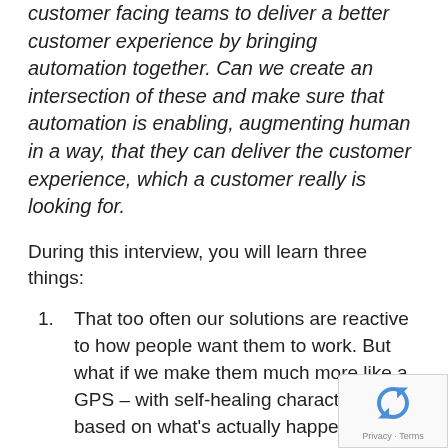customer facing teams to deliver a better customer experience by bringing automation together. Can we create an intersection of these and make sure that automation is enabling, augmenting human in a way, that they can deliver the customer experience, which a customer really is looking for.
During this interview, you will learn three things:
That too often our solutions are reactive to how people want them to work. But what if we make them much more like a GPS – with self-healing characteristics based on what's actually happening
How momentum is created by being ve...